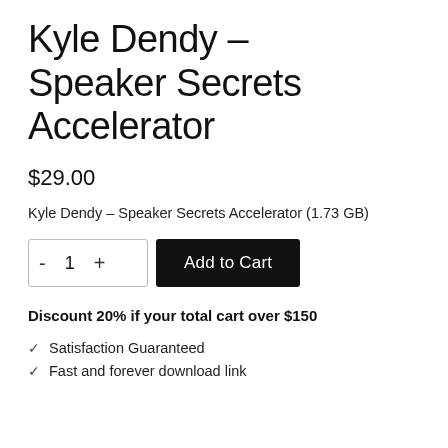Kyle Dendy – Speaker Secrets Accelerator
$29.00
Kyle Dendy – Speaker Secrets Accelerator (1.73 GB)
Discount 20% if your total cart over $150
Satisfaction Guaranteed
Fast and forever download link